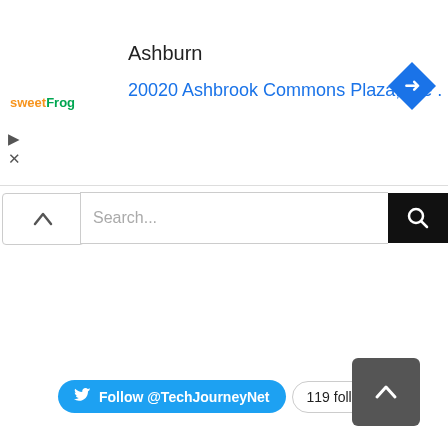[Figure (screenshot): Ad banner for sweetFrog showing Ashburn location at 20020 Ashbrook Commons Plaza, Ste. with a blue navigation/turn icon on the right]
Search...
[Figure (infographic): Twitter Follow button for @TechJourneyNet with 119 followers count]
[Figure (other): Scroll to top dark grey button with upward chevron arrow]